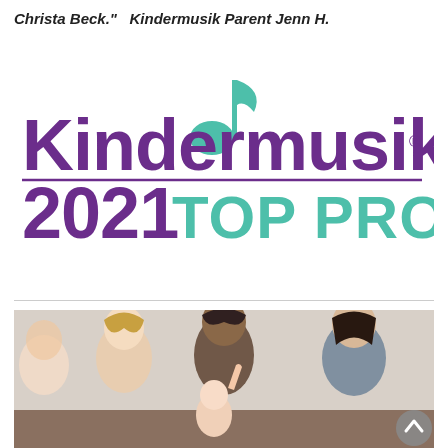Christa Beck."   Kindermusik Parent Jenn H.
[Figure (logo): Kindermusik 2021 Top Program logo with musical note and teal/purple color scheme]
[Figure (photo): Parents and children sitting in a circle during a Kindermusik class session]